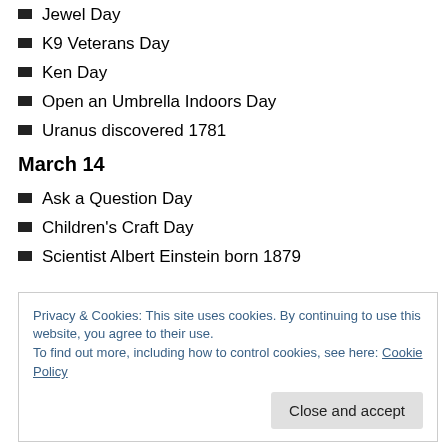Jewel Day
K9 Veterans Day
Ken Day
Open an Umbrella Indoors Day
Uranus discovered 1781
March 14
Ask a Question Day
Children's Craft Day
Scientist Albert Einstein born 1879
Privacy & Cookies: This site uses cookies. By continuing to use this website, you agree to their use.
To find out more, including how to control cookies, see here: Cookie Policy